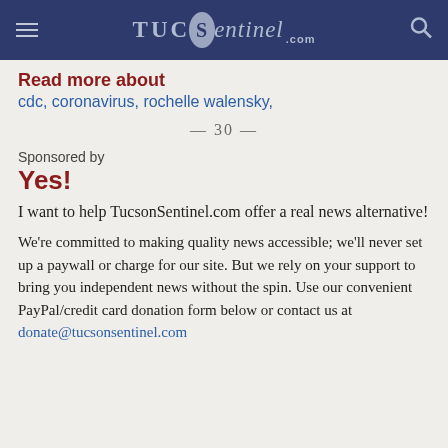TucsonSentinel.com
Read more about
cdc, coronavirus, rochelle walensky,
— 30 —
Sponsored by
Yes!
I want to help TucsonSentinel.com offer a real news alternative!
We're committed to making quality news accessible; we'll never set up a paywall or charge for our site. But we rely on your support to bring you independent news without the spin. Use our convenient PayPal/credit card donation form below or contact us at donate@tucsonsentinel.com